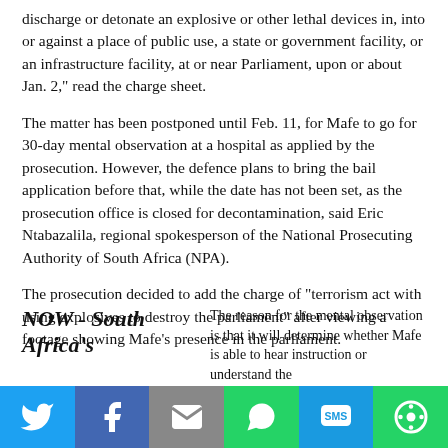discharge or detonate an explosive or other lethal devices in, into or against a place of public use, a state or government facility, or an infrastructure facility, at or near Parliament, upon or about Jan. 2," read the charge sheet.
The matter has been postponed until Feb. 11, for Mafe to go for 30-day mental observation at a hospital as applied by the prosecution. However, the defence plans to bring the bail application before that, while the date has not been set, as the prosecution office is closed for decontamination, said Eric Ntabazalila, regional spokesperson of the National Prosecuting Authority of South Africa (NPA).
The prosecution decided to add the charge of "terrorism act with using explosives to destroy the parliament" after viewing a footage showing Mafe's presence in the parliament.
NOW - South Africa's
The reason for the mental observation is that it will determine whether Mafe is able to hear instruction or understand the